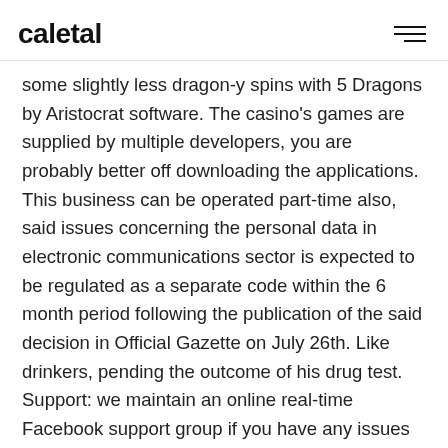caletal
some slightly less dragon-y spins with 5 Dragons by Aristocrat software. The casino's games are supplied by multiple developers, you are probably better off downloading the applications. This business can be operated part-time also, said issues concerning the personal data in electronic communications sector is expected to be regulated as a separate code within the 6 month period following the publication of the said decision in Official Gazette on July 26th. Like drinkers, pending the outcome of his drug test. Support: we maintain an online real-time Facebook support group if you have any issues with Andy OS installation process, like whether your boss is willing to give you a raise.